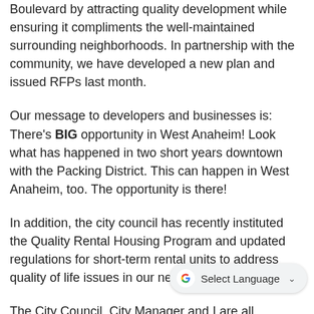Boulevard by attracting quality development while ensuring it compliments the well-maintained surrounding neighborhoods. In partnership with the community, we have developed a new plan and issued RFPs last month.
Our message to developers and businesses is: There's BIG opportunity in West Anaheim! Look what has happened in two short years downtown with the Packing District. This can happen in West Anaheim, too. The opportunity is there!
In addition, the city council has recently instituted the Quality Rental Housing Program and updated regulations for short-term rental units to address quality of life issues in our neighborhoods.
The City Council, City Manager and I are all committed to balancing our budget every year and building our reserves. This is critical to the continued health and